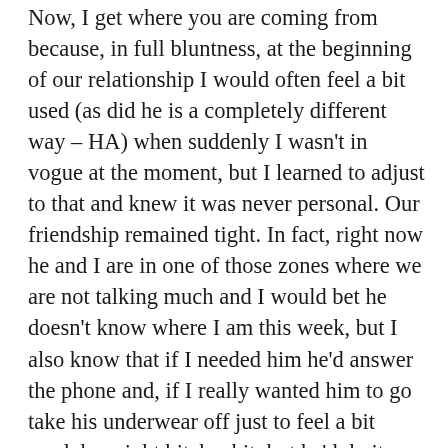Now, I get where you are coming from because, in full bluntness, at the beginning of our relationship I would often feel a bit used (as did he is a completely different way – HA) when suddenly I wasn't in vogue at the moment, but I learned to adjust to that and knew it was never personal. Our friendship remained tight. In fact, right now he and I are in one of those zones where we are not talking much and I would bet he doesn't know where I am this week, but I also know that if I needed him he'd answer the phone and, if I really wanted him to go take his underwear off just to feel a bit used, he might bitch a bit, but he'd do it because, whether we talk or even act it, he's still submissive to me and after four years there is no longer any wavering on that fact (that was mostly my issue but better now).
So, all this to wrap up in a sentence really means that if you are enjoying it and the Dom is good to you when he is